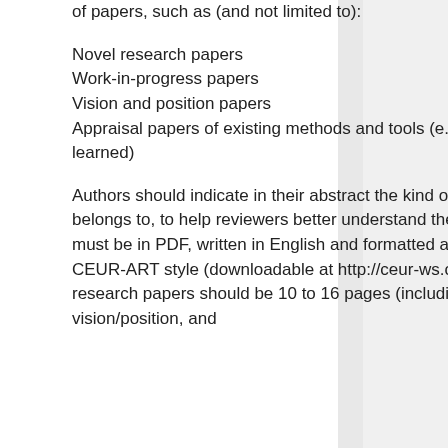of papers, such as (and not limited to):
Novel research papers
Work-in-progress papers
Vision and position papers
Appraisal papers of existing methods and tools (e.g., evaluations, lessons learned)
Authors should indicate in their abstract the kind of submissions that the paper belongs to, to help reviewers better understand their contributions. Submissions must be in PDF, written in English and formatted according to the single-column CEUR-ART style (downloadable at http://ceur-ws.org/Vol-XXX/CEURART.zip). Novel research papers should be 10 to 16 pages (including references), work-in-progress, vision/position, and